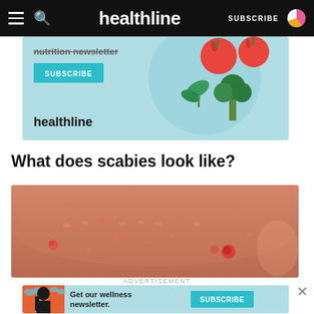healthline — SUBSCRIBE
[Figure (illustration): Healthline nutrition newsletter ad banner with teal background, tomatoes, broccoli, arugula illustrations, SUBSCRIBE button, and healthline logo]
What does scabies look like?
[Figure (photo): Close-up photo of skin with scabies rash showing small red bumps and burrow marks on torso]
ADVERTISEMENT
[Figure (illustration): Healthline wellness newsletter ad with teal background, illustrated woman with black hair, clouds, Get our wellness newsletter text, and SUBSCRIBE button]